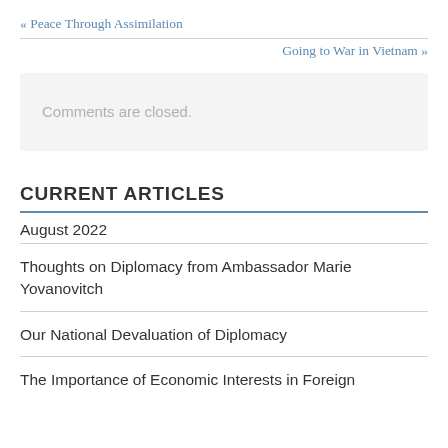« Peace Through Assimilation
Going to War in Vietnam »
Comments are closed.
CURRENT ARTICLES
August 2022
Thoughts on Diplomacy from Ambassador Marie Yovanovitch
Our National Devaluation of Diplomacy
The Importance of Economic Interests in Foreign